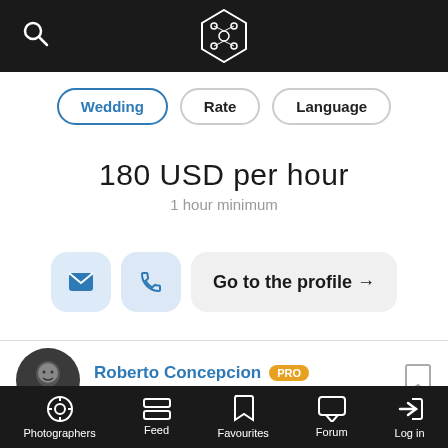[Figure (screenshot): Top navigation bar with search icon and hexagonal logo on dark background]
Wedding
Rate
Language
180 USD per hour
1 hour minimum
Go to the profile →
Roberto Concepcion PRO
Santo Domingo, Dominican Republic
Photographers  Feed  Favourites  Forum  Log in